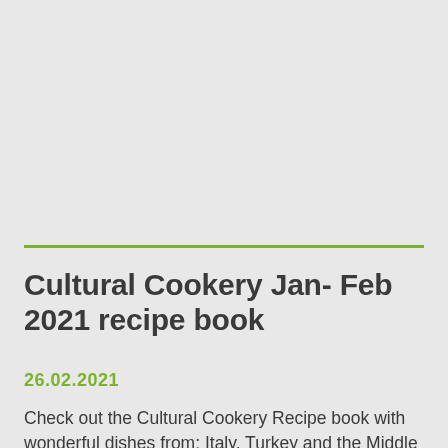Cultural Cookery Jan- Feb 2021 recipe book
26.02.2021
Check out the Cultural Cookery Recipe book with wonderful dishes from; Italy, Turkey and the Middle East, Scotland, Jamaica, and